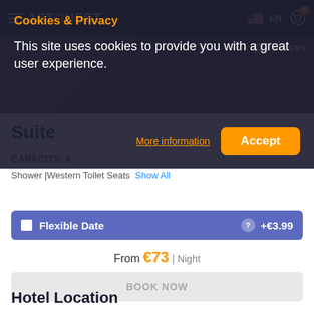1STQUEST | EN
[Figure (screenshot): Hotel gallery image area with GALLERY label]
Suite
CAPACITY: 4
Shower |Western Tollet Seats  Show All
Flexible Date  +€3.99
From €73 | Night
BOOK NOW
Hotel Location
Cookies & Privacy
This site uses cookies to provide you with a great user experience.
More information
Accept